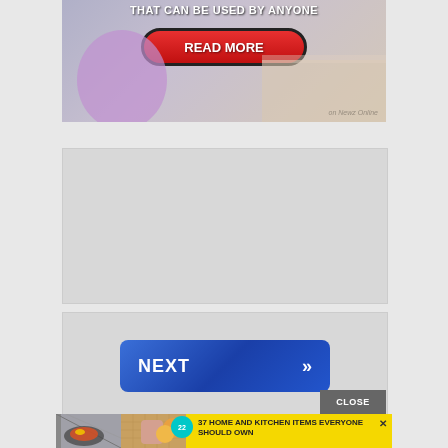[Figure (screenshot): Advertisement banner showing 'THAT CAN BE USED BY ANYONE' text with a red 'READ MORE' button and 'on Newz Online' label, purple/beige background]
[Figure (screenshot): Gray advertisement placeholder box in middle section]
[Figure (screenshot): Blue 'NEXT >>' button advertisement on gray background]
[Figure (screenshot): Yellow banner ad with food/kitchen images and text '37 HOME AND KITCHEN ITEMS EVERYONE SHOULD OWN' with teal badge showing '22' and X close button]